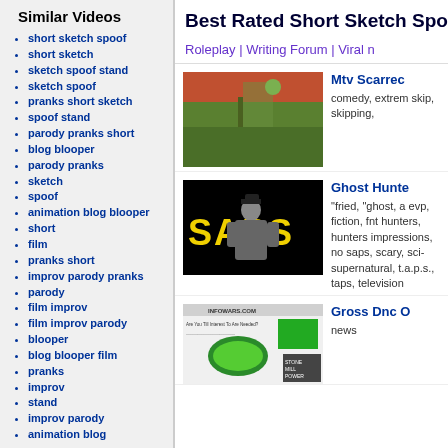Similar Videos
short sketch spoof
short sketch
sketch spoof stand
sketch spoof
pranks short sketch
spoof stand
parody pranks short
blog blooper
parody pranks
sketch
spoof
animation blog blooper
short
film
pranks short
improv parody pranks
parody
film improv
film improv parody
blooper
blog blooper film
pranks
improv
stand
improv parody
animation blog
Best Rated Short Sketch Spoof V
Roleplay | Writing Forum | Viral n
Mtv Scarrec
comedy, extrem skip, skipping,
Ghost Hunte
"fried, "ghost, a evp, fiction, fnt hunters, hunters impressions, no saps, scary, sci- supernatural, t.a.p.s., taps, television
Gross Dnc O
news